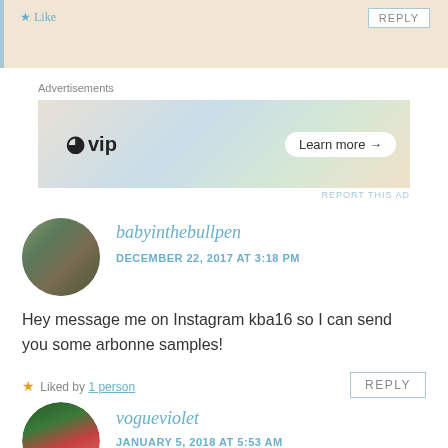[Figure (other): Top beige comment bar with Like and Reply button]
Advertisements
[Figure (other): WordPress VIP advertisement banner with Learn more button]
REPORT THIS AD
[Figure (photo): Avatar photo of babyinthebullpen commenter]
babyinthebullpen
DECEMBER 22, 2017 AT 3:18 PM
Hey message me on Instagram kba16 so I can send you some arbonne samples!
Liked by 1 person
REPLY
[Figure (photo): Avatar photo of vogueviolet commenter]
vogueviolet
JANUARY 5, 2018 AT 5:53 AM